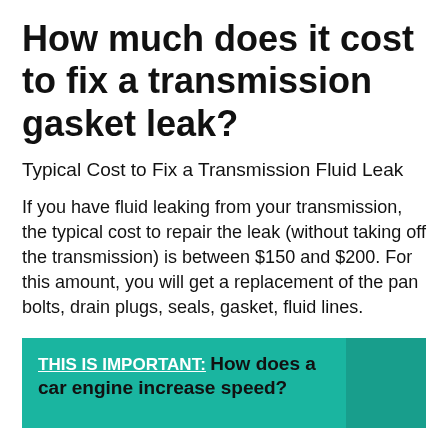How much does it cost to fix a transmission gasket leak?
Typical Cost to Fix a Transmission Fluid Leak
If you have fluid leaking from your transmission, the typical cost to repair the leak (without taking off the transmission) is between $150 and $200. For this amount, you will get a replacement of the pan bolts, drain plugs, seals, gasket, fluid lines.
THIS IS IMPORTANT:  How does a car engine increase speed?
What causes a transmission gasket leak?